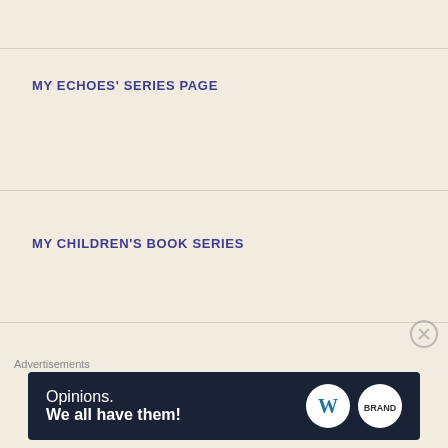MY ECHOES' SERIES PAGE
MY CHILDREN'S BOOK SERIES
THE WRITING NOMAD
Advertisements
[Figure (other): Advertisement banner: dark navy background with text 'Opinions. We all have them!' and WordPress logo and Brand logo circle on the right. Close button (X) in top right.]